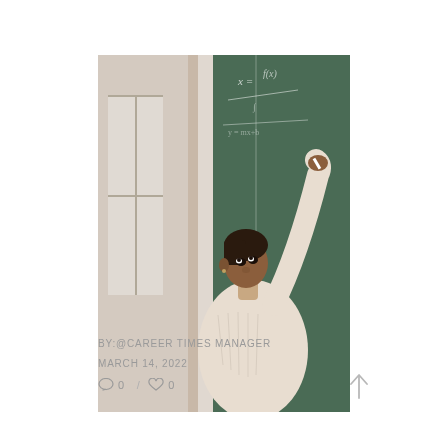[Figure (photo): A woman (teacher) writing on a green chalkboard with mathematical equations, reaching up with her right hand, wearing a cream/beige ribbed sweater, looking upward at the board.]
BY:@CAREER TIMES MANAGER
MARCH 14, 2022
○ 0  /  ♡ 0